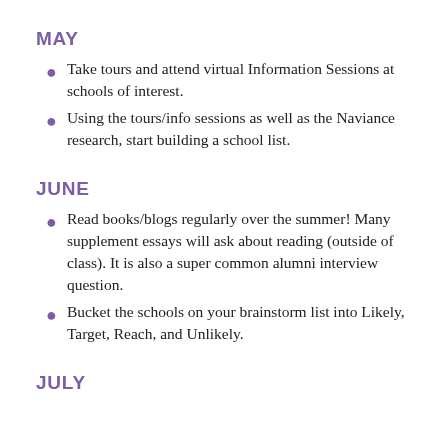MAY
Take tours and attend virtual Information Sessions at schools of interest.
Using the tours/info sessions as well as the Naviance research, start building a school list.
JUNE
Read books/blogs regularly over the summer! Many supplement essays will ask about reading (outside of class). It is also a super common alumni interview question.
Bucket the schools on your brainstorm list into Likely, Target, Reach, and Unlikely.
JULY